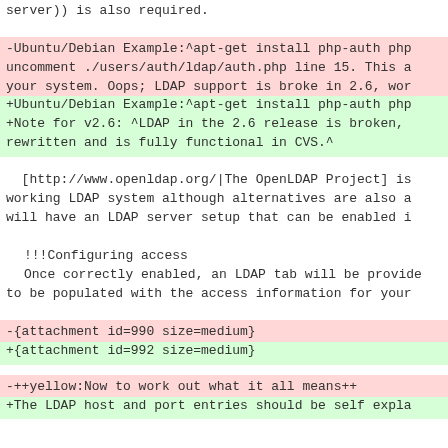server)) is also required.
-Ubuntu/Debian Example:^apt-get install php-auth php
uncomment ./users/auth/ldap/auth.php line 15. This a
your system. Oops; LDAP support is broke in 2.6, wor
+Ubuntu/Debian Example:^apt-get install php-auth php
+Note for v2.6: ^LDAP in the 2.6 release is broken,
rewritten and is fully functional in CVS.^
[http://www.openldap.org/|The OpenLDAP Project] is
working LDAP system although alternatives are also a
will have an LDAP server setup that can be enabled i
!!!Configuring access
Once correctly enabled, an LDAP tab will be provide
to be populated with the access information for your
-{attachment id=990 size=medium}
+{attachment id=992 size=medium}
-++yellow:Now to work out what it all means++
+The LDAP host and port entries should be self expla